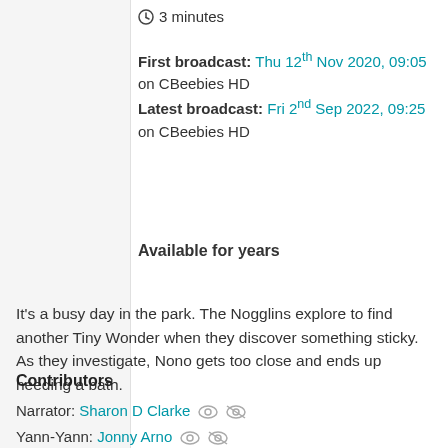3 minutes
First broadcast: Thu 12th Nov 2020, 09:05 on CBeebies HD
Latest broadcast: Fri 2nd Sep 2022, 09:25 on CBeebies HD
Available for years
It's a busy day in the park. The Nogglins explore to find another Tiny Wonder when they discover something sticky. As they investigate, Nono gets too close and ends up needing a bath.
Contributors
Narrator: Sharon D Clarke
Yann-Yann: Jonny Arno